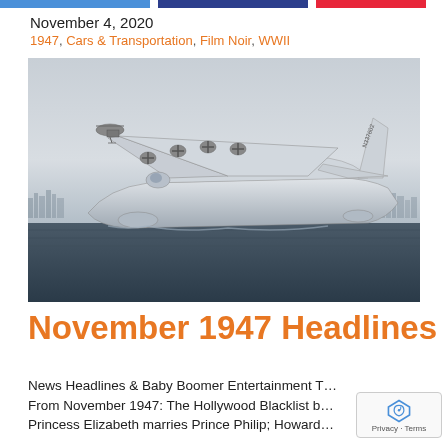November 4, 2020
1947, Cars & Transportation, Film Noir, WWII
[Figure (photo): Black and white historical photograph of a large flying boat / seaplane (Howard Hughes H-4 Hercules / Spruce Goose) on water, with a small helicopter visible in the background and a cityscape on the horizon. Registration number N37602 visible on tail.]
November 1947 Headlines
News Headlines & Baby Boomer Entertainment T… From November 1947: The Hollywood Blacklist b… Princess Elizabeth marries Prince Philip; Howard…